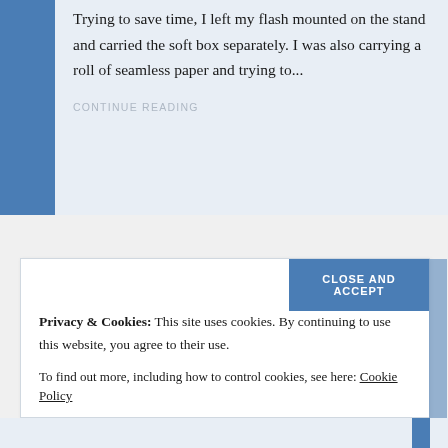Trying to save time, I left my flash mounted on the stand and carried the soft box separately. I was also carrying a roll of seamless paper and trying to...
CONTINUE READING
CLOSE AND ACCEPT
Privacy & Cookies: This site uses cookies. By continuing to use this website, you agree to their use.
To find out more, including how to control cookies, see here: Cookie Policy